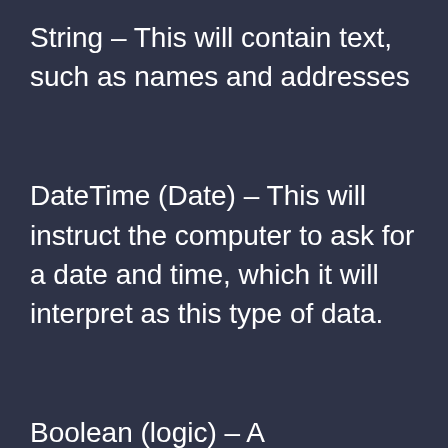String – This will contain text, such as names and addresses
DateTime (Date) – This will instruct the computer to ask for a date and time, which it will interpret as this type of data.
Boolean (logic) – A...